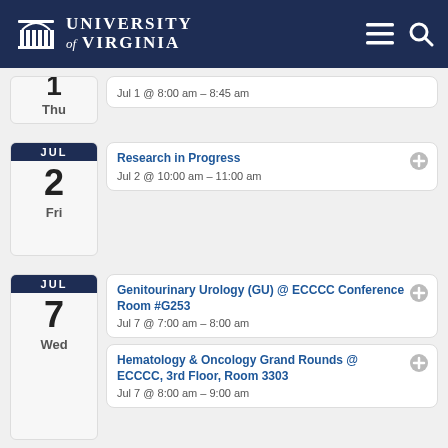University of Virginia
Jul 1 @ 8:00 am – 8:45 am
Thu
Research in Progress
Jul 2 @ 10:00 am – 11:00 am
Fri
Genitourinary Urology (GU) @ ECCCC Conference Room #G253
Jul 7 @ 7:00 am – 8:00 am
Hematology & Oncology Grand Rounds @ ECCCC, 3rd Floor, Room 3303
Jul 7 @ 8:00 am – 9:00 am
Wed